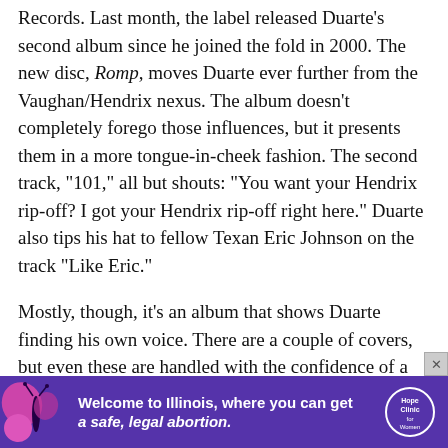Records. Last month, the label released Duarte's second album since he joined the fold in 2000. The new disc, Romp, moves Duarte ever further from the Vaughan/Hendrix nexus. The album doesn't completely forego those influences, but it presents them in a more tongue-in-cheek fashion. The second track, "101," all but shouts: "You want your Hendrix rip-off? I got your Hendrix rip-off right here." Duarte also tips his hat to fellow Texan Eric Johnson on the track "Like Eric."
Mostly, though, it's an album that shows Duarte finding his own voice. There are a couple of covers, but even these are handled with the confidence of a man who knows how things ought to sound.
That sense is further strengthened when discussing the current state of blues with Duarte. He won't disrespect the
[Figure (infographic): Advertisement banner for Hope Clinic for Women: 'Welcome to Illinois, where you can get a safe, legal abortion.' Purple background with butterfly graphic on left and Hope Clinic for Women logo on right.]